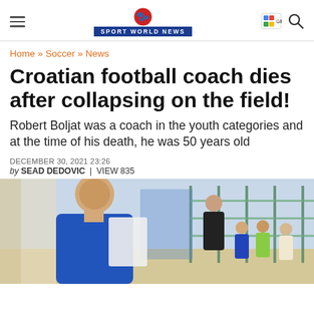SPORT WORLD NEWS
Home » Soccer » News
Croatian football coach dies after collapsing on the field!
Robert Boljat was a coach in the youth categories and at the time of his death, he was 50 years old
DECEMBER 30, 2021 23:26
by SEAD DEDOVIC  |  VIEW 835
[Figure (photo): Photo of Robert Boljat, a man in a blue shirt smiling, with children in the background near a metal gate/fence on a sports field.]